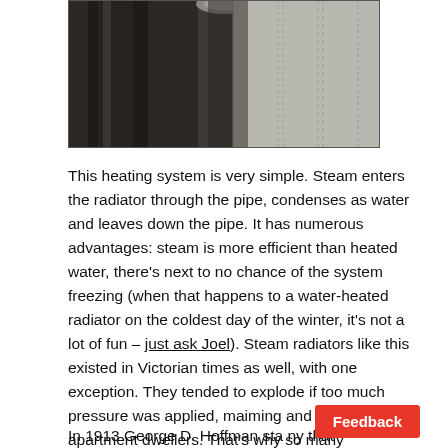[Figure (photo): Close-up photo of a steam radiator pipe fitting, showing dark metal pipe on the left and a textured surface on the right, cropped at the top of the page.]
This heating system is very simple. Steam enters the radiator through the pipe, condenses as water and leaves down the pipe. It has numerous advantages: steam is more efficient than heated water, there's next to no chance of the system freezing (when that happens to a water-heated radiator on the coldest day of the winter, it's not a lot of fun – just ask Joel). Steam radiators like this existed in Victorian times as well, with one exception. They tended to explode if too much pressure was applied, maiming and killing hapless apartment dwellers. That's why so many brownstones have water-heated systems.
In 1913 George D. Hoffman sta[...] ny that